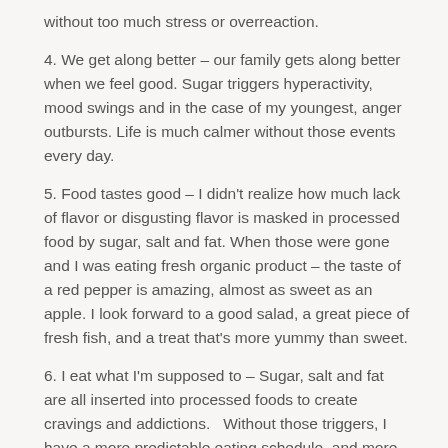without too much stress or overreaction.
4. We get along better – our family gets along better when we feel good. Sugar triggers hyperactivity, mood swings and in the case of my youngest, anger outbursts. Life is much calmer without those events every day.
5. Food tastes good – I didn't realize how much lack of flavor or disgusting flavor is masked in processed food by sugar, salt and fat. When those were gone and I was eating fresh organic product – the taste of a red pepper is amazing, almost as sweet as an apple. I look forward to a good salad, a great piece of fresh fish, and a treat that's more yummy than sweet.
6. I eat what I'm supposed to – Sugar, salt and fat are all inserted into processed foods to create cravings and addictions.  Without those triggers, I have a more predictable eating schedule, and more control over what I CHOOSE to eat.